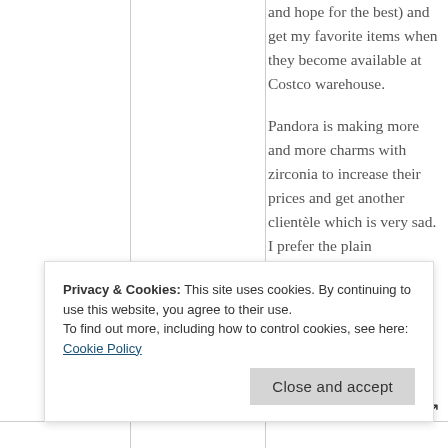and hope for the best) and get my favorite items when they become available at Costco warehouse.

Pandora is making more and more charms with zirconia to increase their prices and get another clientèle which is very sad. I prefer the plain …
Privacy & Cookies: This site uses cookies. By continuing to use this website, you agree to their use.
To find out more, including how to control cookies, see here: Cookie Policy